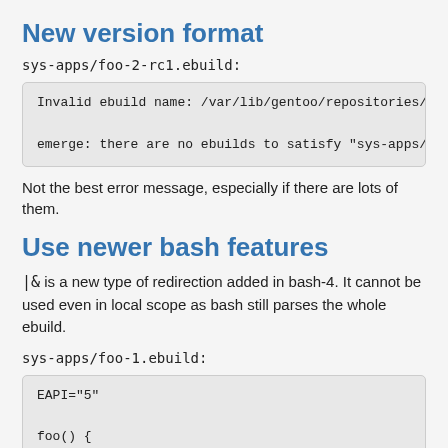New version format
sys-apps/foo-2-rc1.ebuild:
[Figure (screenshot): Code block showing error messages: 'Invalid ebuild name: /var/lib/gentoo/repositories/pe' and 'emerge: there are no ebuilds to satisfy "sys-apps/fo']
Not the best error message, especially if there are lots of them.
Use newer bash features
|& is a new type of redirection added in bash-4. It cannot be used even in local scope as bash still parses the whole ebuild.
sys-apps/foo-1.ebuild:
[Figure (screenshot): Code block showing: EAPI="5"

foo() {
    echo "foo" |& cat
}]